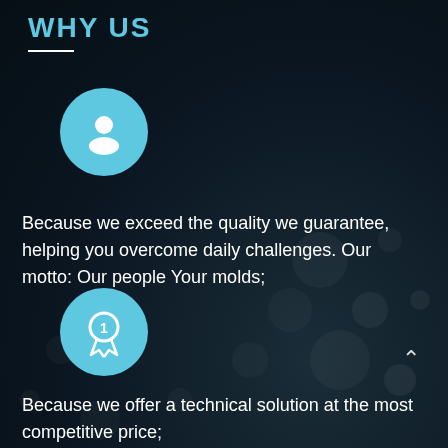WHY US
[Figure (illustration): Light blue circle with white person/user silhouette icon]
Because we exceed the quality we guarantee, helping you overcome daily challenges. Our motto: Our people Your molds;
[Figure (illustration): Light blue circle with white award/medal number 1 ribbon icon]
Because we offer a technical solution at the most competitive price;